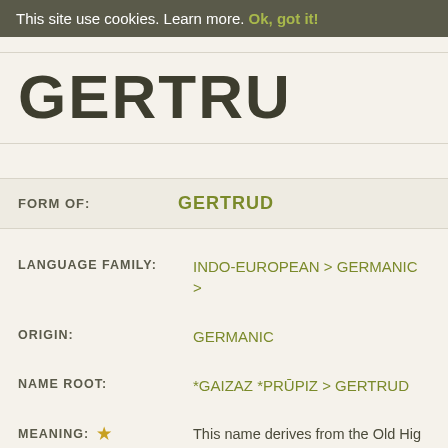This site use cookies. Learn more. Ok, got it!
GERTRU
FORM OF: GERTRUD
LANGUAGE FAMILY: INDO-EUROPEAN > GERMANIC >
ORIGIN: GERMANIC
NAME ROOT: *GAIZAZ *PRŪPIZ > GERTRUD
MEANING: ★ This name derives from the Old Hig "*gaizaz" (spear, pike, javelin) plus " Benedictine, mystic, and theologian. inscribed in the General Roman Cale was born January 6, 1256, in Eislebs (~1227–1297) was the daughter of became a Premonstratensian canon